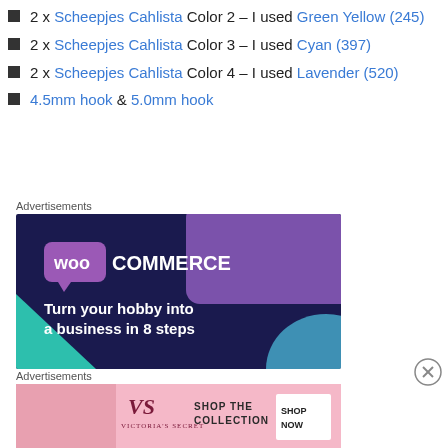2 x Scheepjes Cahlista Color 2 – I used Green Yellow (245)
2 x Scheepjes Cahlista Color 3 – I used Cyan (397)
2 x Scheepjes Cahlista Color 4 – I used Lavender (520)
4.5mm hook & 5.0mm hook
Advertisements
[Figure (screenshot): WooCommerce advertisement banner: purple/dark background with WooCommerce logo and text 'Turn your hobby into a business in 8 steps']
Advertisements
[Figure (screenshot): Victoria's Secret advertisement banner: pink background with VS logo, 'SHOP THE COLLECTION', and 'SHOP NOW' button]